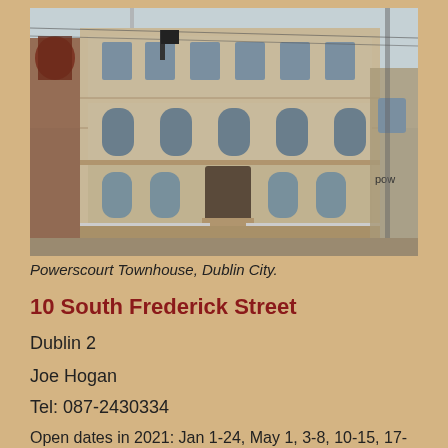[Figure (photo): Exterior photograph of Powerscourt Townhouse, Dublin City — a large Georgian stone building with arched windows, steps leading to entrance, viewed from street level.]
Powerscourt Townhouse, Dublin City.
10 South Frederick Street
Dublin 2
Joe Hogan
Tel: 087-2430334
Open dates in 2021: Jan 1-24, May 1, 3-8, 10-15, 17-22, 24-27, Aug 14-22, 2pm-6pm